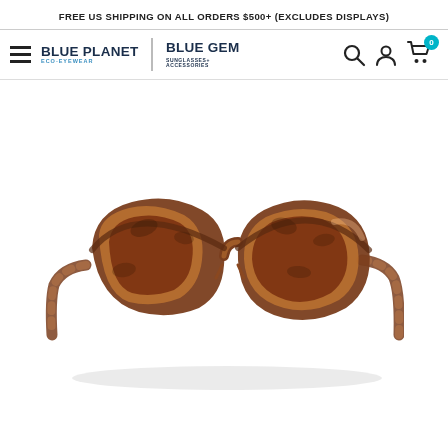FREE US SHIPPING ON ALL ORDERS $500+ (EXCLUDES DISPLAYS)
[Figure (logo): Blue Planet Eco-Eyewear and Blue Gem Sunglasses+ Accessories logo with navigation icons (search, account, cart with 0 badge)]
[Figure (photo): Tortoiseshell brown wayfarer-style sunglasses with brown lenses, photographed from a slight front angle on a white background]